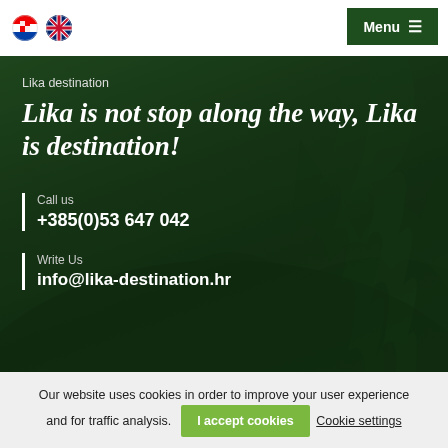[Figure (screenshot): Website header with Croatian and UK flag icons on the left and a dark green Menu button with hamburger icon on the right]
[Figure (photo): Dark green forested mountain landscape used as hero background image with overlaid text]
Lika destination
Lika is not stop along the way, Lika is destination!
Call us
+385(0)53 647 042
Write Us
info@lika-destination.hr
Our website uses cookies in order to improve your user experience and for traffic analysis.
I accept cookies
Cookie settings